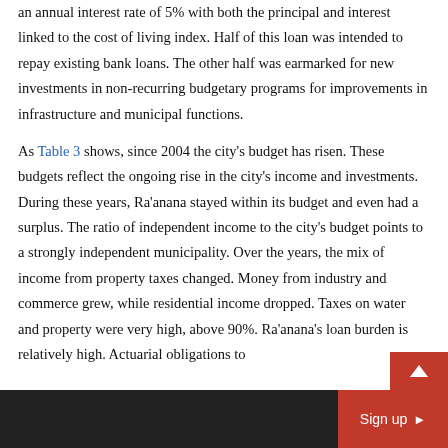an annual interest rate of 5% with both the principal and interest linked to the cost of living index. Half of this loan was intended to repay existing bank loans. The other half was earmarked for new investments in non-recurring budgetary programs for improvements in infrastructure and municipal functions.
As Table 3 shows, since 2004 the city's budget has risen. These budgets reflect the ongoing rise in the city's income and investments. During these years, Ra'anana stayed within its budget and even had a surplus. The ratio of independent income to the city's budget points to a strongly independent municipality. Over the years, the mix of income from property taxes changed. Money from industry and commerce grew, while residential income dropped. Taxes on water and property were very high, above 90%. Ra'anana's loan burden is relatively high. Actuarial obligations to
Sign up